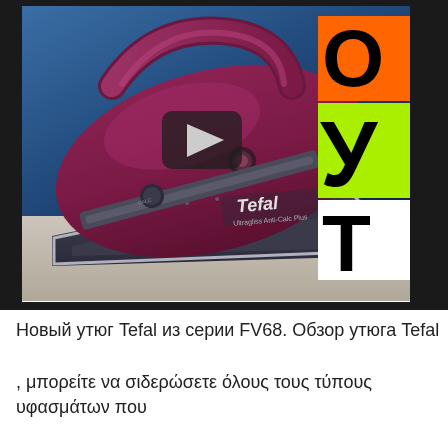[Figure (photo): Video thumbnail showing a Tefal FV68 series steam iron in purple/maroon color with gray soleplate, on a blue gradient background. Right side has overlaid text labels: orange box with 'О', yellow-green box with 'У', white box with 'Т'. A play button is visible in the center of the thumbnail.]
Новый утюг Tefal из серии FV68. Обзор утюга Tefal
, μπορείτε να σιδερώσετε όλους τους τύπους υφασμάτων που